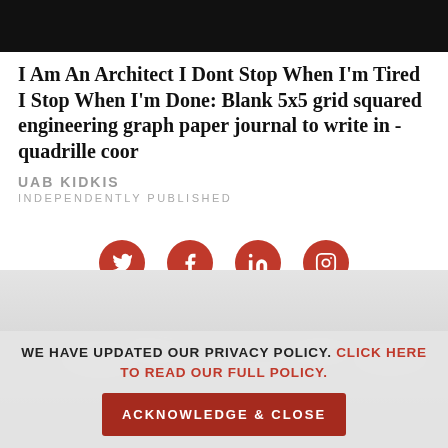[Figure (photo): Black bar at top of page (header image area)]
I Am An Architect I Dont Stop When I'm Tired I Stop When I'm Done: Blank 5x5 grid squared engineering graph paper journal to write in - quadrille coor
UAB KIDKIS
INDEPENDENTLY PUBLISHED
[Figure (infographic): Four red circular social media icons: Twitter, Facebook, LinkedIn, Instagram]
[Figure (photo): Photo of white earbuds/earphones on a light background]
WE HAVE UPDATED OUR PRIVACY POLICY. CLICK HERE TO READ OUR FULL POLICY.
ACKNOWLEDGE & CLOSE